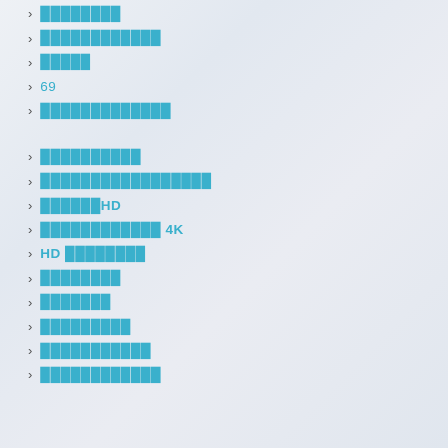████████
████████████
█████
69
█████████████
██████████
█████████████████
██████HD
████████████ 4K
HD ████████
████████
███████
█████████
███████████
████████████